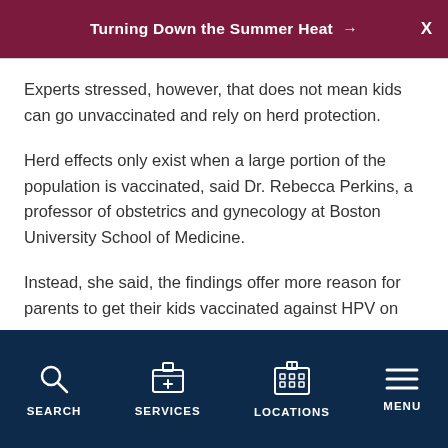Turning Down the Summer Heat →
Experts stressed, however, that does not mean kids can go unvaccinated and rely on herd protection.
Herd effects only exist when a large portion of the population is vaccinated, said Dr. Rebecca Perkins, a professor of obstetrics and gynecology at Boston University School of Medicine.
Instead, she said, the findings offer more reason for parents to get their kids vaccinated against HPV on schedule.
"All of the news on the HPV vaccine is good," said
SEARCH   SERVICES   LOCATIONS   MENU